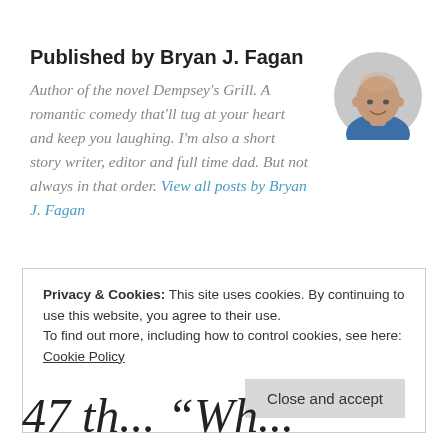Published by Bryan J. Fagan
Author of the novel Dempsey's Grill. A romantic comedy that'll tug at your heart and keep you laughing. I'm also a short story writer, editor and full time dad. But not always in that order. View all posts by Bryan J. Fagan
[Figure (photo): Circular profile photo of Bryan J. Fagan, a bald man smiling, wearing a blue shirt]
Privacy & Cookies: This site uses cookies. By continuing to use this website, you agree to their use.
To find out more, including how to control cookies, see here:
Cookie Policy
Close and accept
47 th...  "Wh...